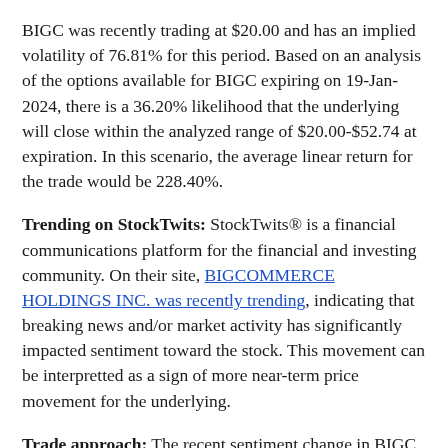BIGC was recently trading at $20.00 and has an implied volatility of 76.81% for this period. Based on an analysis of the options available for BIGC expiring on 19-Jan-2024, there is a 36.20% likelihood that the underlying will close within the analyzed range of $20.00-$52.74 at expiration. In this scenario, the average linear return for the trade would be 228.40%.
Trending on StockTwits: StockTwits® is a financial communications platform for the financial and investing community. On their site, BIGCOMMERCE HOLDINGS INC. was recently trending, indicating that breaking news and/or market activity has significantly impacted sentiment toward the stock. This movement can be interpretted as a sign of more near-term price movement for the underlying.
Trade approach: The recent sentiment change in BIGC on StockTwits appears to be moderately positive, indicating that the stock will likely follow that direction for the near term.